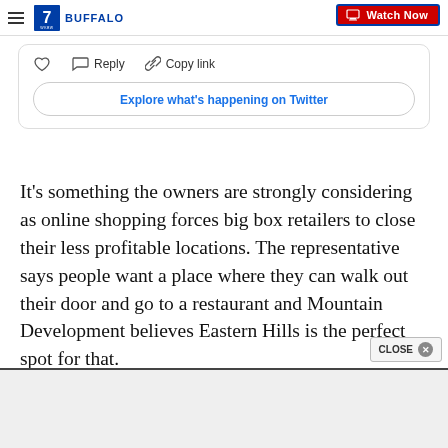7 WKBW BUFFALO — Watch Now
[Figure (screenshot): Twitter embedded tweet interaction buttons: heart/like icon, reply icon with 'Reply' text, link icon with 'Copy link' text, and an 'Explore what's happening on Twitter' button]
It's something the owners are strongly considering as online shopping forces big box retailers to close their less profitable locations. The representative says people want a place where they can walk out their door and go to a restaurant and Mountain Development believes Eastern Hills is the perfect spot for that.
[Figure (other): CLOSE button with X and advertisement box at the bottom of the page]